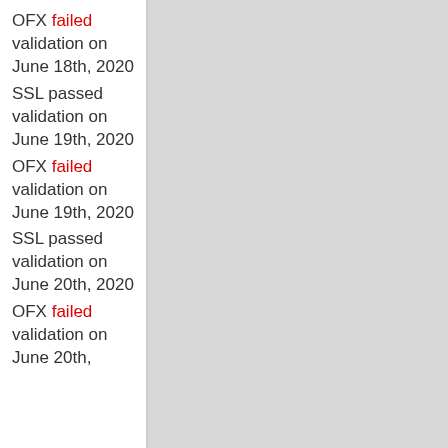OFX failed validation on June 18th, 2020
SSL passed validation on June 19th, 2020
OFX failed validation on June 19th, 2020
SSL passed validation on June 20th, 2020
OFX failed validation on June 20th, 2020